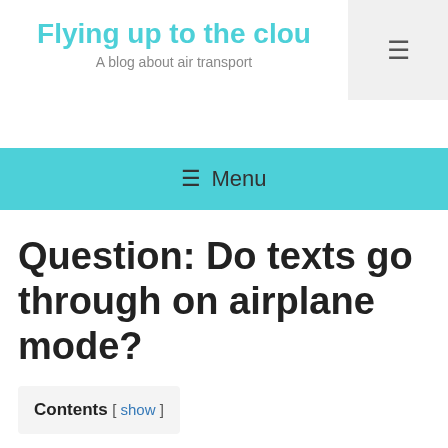Flying up to the clou
A blog about air transport
≡ Menu
Question: Do texts go through on airplane mode?
Contents [ show ]